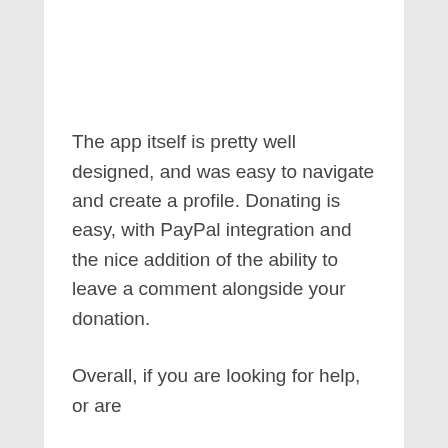The app itself is pretty well designed, and was easy to navigate and create a profile. Donating is easy, with PayPal integration and the nice addition of the ability to leave a comment alongside your donation.
Overall, if you are looking for help, or are